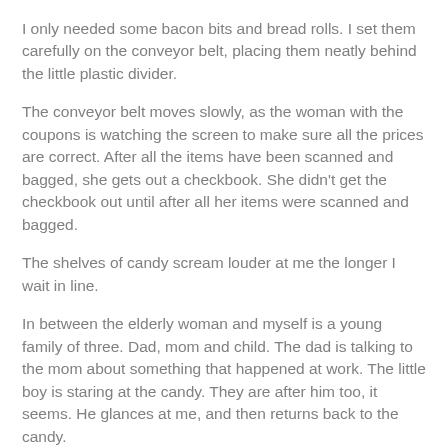I only needed some bacon bits and bread rolls. I set them carefully on the conveyor belt, placing them neatly behind the little plastic divider.
The conveyor belt moves slowly, as the woman with the coupons is watching the screen to make sure all the prices are correct. After all the items have been scanned and bagged, she gets out a checkbook. She didn't get the checkbook out until after all her items were scanned and bagged.
The shelves of candy scream louder at me the longer I wait in line.
In between the elderly woman and myself is a young family of three. Dad, mom and child. The dad is talking to the mom about something that happened at work. The little boy is staring at the candy. They are after him too, it seems. He glances at me, and then returns back to the candy.
There is no candy mixed in with his parents food.